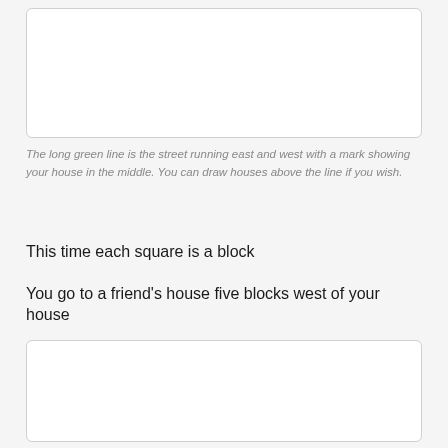[Figure (other): A blank white rectangular box representing a drawing area for a map/street diagram]
The long green line is the street running east and west with a mark showing your house in the middle. You can draw houses above the line if you wish.
This time each square is a block
You go to a friend's house five blocks west of your house
[Figure (other): A blank white rectangular box representing a drawing area for a map/street diagram]